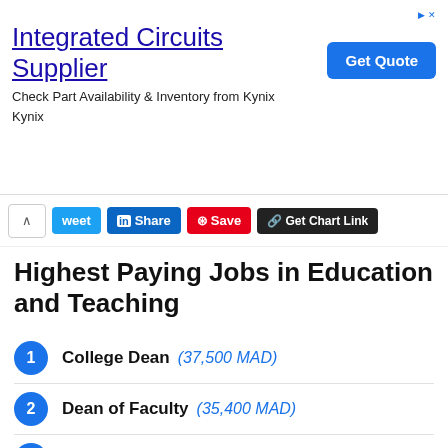[Figure (screenshot): Advertisement banner for Integrated Circuits Supplier - Kynix, with Get Quote button]
[Figure (screenshot): Social sharing bar with Tweet, LinkedIn Share, Pinterest Save, and Get Chart Link buttons]
Highest Paying Jobs in Education and Teaching
1 College Dean (37,500 MAD)
2 Dean of Faculty (35,400 MAD)
3 Professor (34,700 MAD)
4 Lecturer (27,400 MAD)
5 Head of School (26,500 MAD)